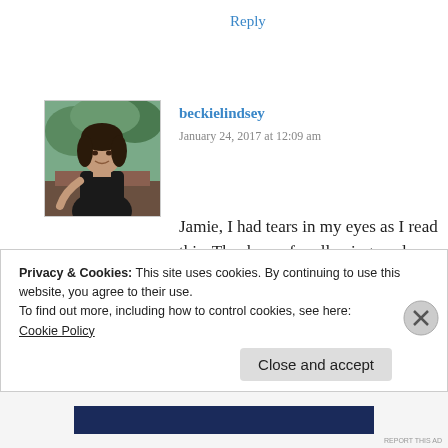Reply
[Figure (photo): Profile photo of beckielindsey, a woman with dark hair sitting outdoors]
beckielindsey
January 24, 2017 at 12:09 am
Jamie, I had tears in my eyes as I read this. Thank you for allowing readers into your private thoughts and feelings. I know God will use your pain to help someone (maybe more).
Privacy & Cookies: This site uses cookies. By continuing to use this website, you agree to their use.
To find out more, including how to control cookies, see here:
Cookie Policy
Close and accept